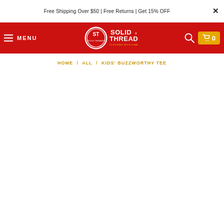Free Shipping Over $50 | Free Returns | Get 15% OFF
[Figure (logo): Solid Threads logo — circular ST emblem with 'SOLID THREADS' text and 'CLOTHING WITH CHARACTER' tagline on red navigation bar]
HOME / ALL / KIDS' BUZZWORTHY TEE